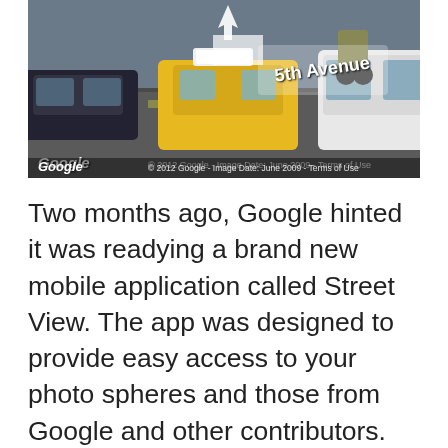[Figure (photo): Google Street View screenshot showing 5th Avenue with yellow taxi cab, cars, and street label overlay. Google logo and copyright notice visible.]
Two months ago, Google hinted it was readying a brand new mobile application called Street View. The app was designed to provide easy access to your photo spheres and those from Google and other contributors. Today, the Internet giant sent an email blast confirming that the native Street View for iOS app is coming in early-September.
The search company did not share detailed information about the upcoming software, but we've been able to glean a few tidbits. For starters, the Street View app will replace